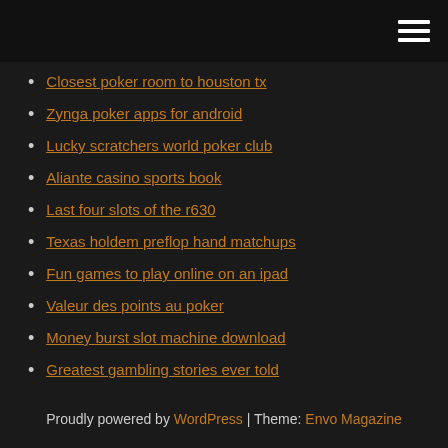[Navigation bar with hamburger menu]
Closest poker room to houston tx
Zynga poker apps for android
Lucky scratchers world poker club
Aliante casino sports book
Last four slots of the r630
Texas holdem preflop hand matchups
Fun games to play online on an ipad
Valeur des points au poker
Money burst slot machine download
Greatest gambling stories ever told
Poker hands biggest to smallest
Proudly powered by WordPress | Theme: Envo Magazine